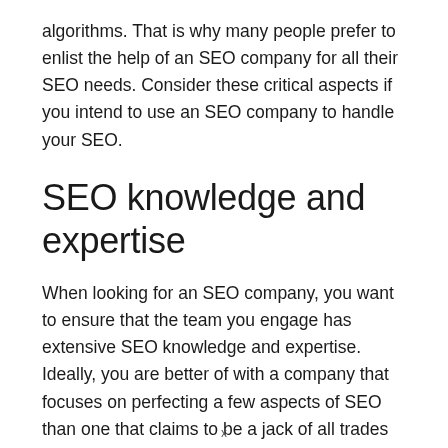algorithms. That is why many people prefer to enlist the help of an SEO company for all their SEO needs. Consider these critical aspects if you intend to use an SEO company to handle your SEO.
SEO knowledge and expertise
When looking for an SEO company, you want to ensure that the team you engage has extensive SEO knowledge and expertise. Ideally, you are better of with a company that focuses on perfecting a few aspects of SEO than one that claims to be a jack of all trades in digital marketing.
x